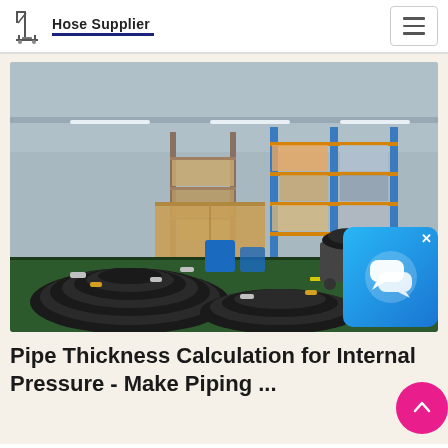Hose Supplier
[Figure (photo): Warehouse interior showing coiled black hoses in the foreground and industrial shelving racks with supplies in the background, green floor visible]
[Figure (screenshot): Blue chat/messaging widget overlay with speech bubble icon and X close button]
Pipe Thickness Calculation for Internal Pressure - Make Piping ...